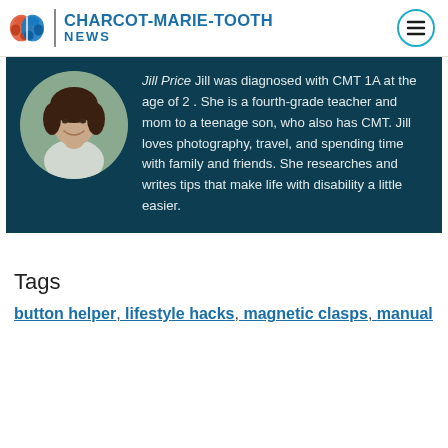CHARCOT-MARIE-TOOTH NEWS
[Figure (photo): Circular portrait photo of Jill Price, a woman with long dark curly hair, smiling]
Jill Price Jill was diagnosed with CMT 1A at the age of 2. She is a fourth-grade teacher and mom to a teenage son, who also has CMT. Jill loves photography, travel, and spending time with family and friends. She researches and writes tips that make life with disability a little easier.
Tags
button helper, lifestyle hacks, magnetic clasps, manual